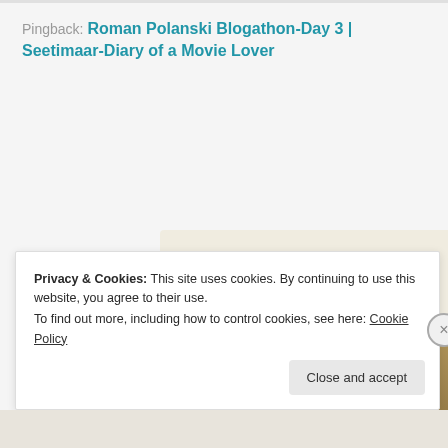Pingback: Roman Polanski Blogathon-Day 3 | Seetimaar-Diary of a Movie Lover
[Figure (screenshot): WordPress.com advertisement showing 'Professionally designed sites in less than a week' with an Explore options button and device mockup screenshots]
Privacy & Cookies: This site uses cookies. By continuing to use this website, you agree to their use. To find out more, including how to control cookies, see here: Cookie Policy
Close and accept